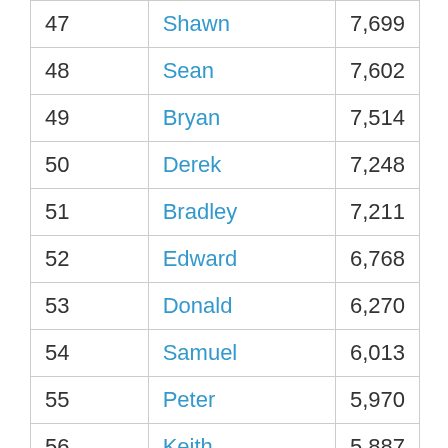| Rank | Name | Count |
| --- | --- | --- |
| 47 | Shawn | 7,699 |
| 48 | Sean | 7,602 |
| 49 | Bryan | 7,514 |
| 50 | Derek | 7,248 |
| 51 | Bradley | 7,211 |
| 52 | Edward | 6,768 |
| 53 | Donald | 6,270 |
| 54 | Samuel | 6,013 |
| 55 | Peter | 5,970 |
| 56 | Keith | 5,887 |
| 57 | Kyle | 5,782 |